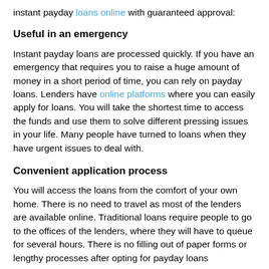instant payday loans online with guaranteed approval:
Useful in an emergency
Instant payday loans are processed quickly. If you have an emergency that requires you to raise a huge amount of money in a short period of time, you can rely on payday loans. Lenders have online platforms where you can easily apply for loans. You will take the shortest time to access the funds and use them to solve different pressing issues in your life. Many people have turned to loans when they have urgent issues to deal with.
Convenient application process
You will access the loans from the comfort of your own home. There is no need to travel as most of the lenders are available online. Traditional loans require people to go to the offices of the lenders, where they will have to queue for several hours. There is no filling out of paper forms or lengthy processes after opting for payday loans